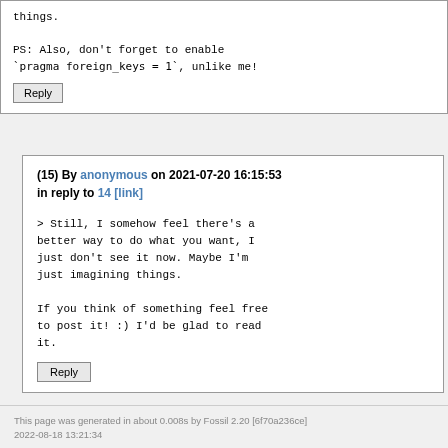things.

PS: Also, don't forget to enable `pragma foreign_keys = 1`, unlike me!
Reply
(15) By anonymous on 2021-07-20 16:15:53 in reply to 14 [link]
> Still, I somehow feel there's a better way to do what you want, I just don't see it now. Maybe I'm just imagining things.

If you think of something feel free to post it! :) I'd be glad to read it.
Reply
This page was generated in about 0.008s by Fossil 2.20 [6f70a236ce] 2022-08-18 13:21:34